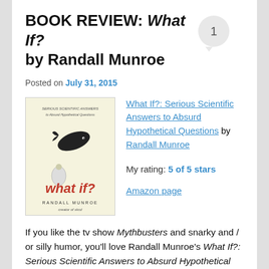BOOK REVIEW: What If? by Randall Munroe
Posted on July 31, 2015
[Figure (illustration): Book cover of 'What If?: Serious Scientific Answers to Absurd Hypothetical Questions' by Randall Munroe, showing a whale falling from the sky and the text 'what if?' in red]
What If?: Serious Scientific Answers to Absurd Hypothetical Questions by Randall Munroe
My rating: 5 of 5 stars
Amazon page
If you like the tv show Mythbusters and snarky and / or silly humor, you'll love Randall Munroe's What If?: Serious Scientific Answers to Absurd Hypothetical Questions. Munroe gained internet fame (still not the same as real fame) drawing the popular webcomic xkcd. The book's subtitle says it all. Munroe solicited questions from his web-legion (not the same as a real legion) of fans, selected a collection that he found intriguing, and answers